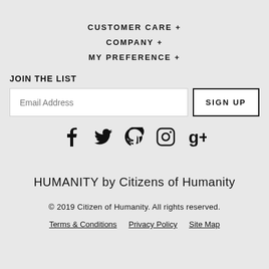CUSTOMER CARE +
COMPANY +
MY PREFERENCE +
JOIN THE LIST
Email Address
SIGN UP
[Figure (infographic): Social media icons: Facebook, Twitter, Pinterest, Instagram, Google+]
HUMANITY by Citizens of Humanity
© 2019 Citizen of Humanity. All rights reserved.
Terms & Conditions   Privacy Policy   Site Map